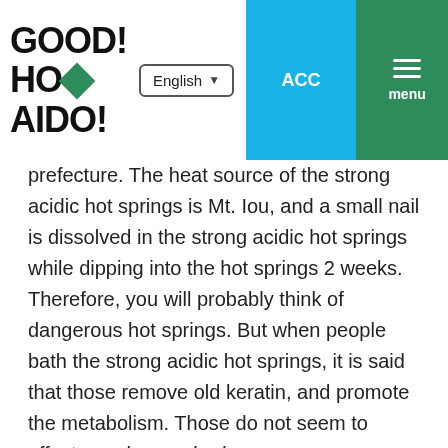GOOD! HOKKAIDO! — English | ACC | menu
prefecture. The heat source of the strong acidic hot springs is Mt. Iou, and a small nail is dissolved in the strong acidic hot springs while dipping into the hot springs 2 weeks. Therefore, you will probably think of dangerous hot springs. But when people bath the strong acidic hot springs, it is said that those remove old keratin, and promote the metabolism. Those do not seem to affect on a human body.
Kawayu Onsen
Kawayu Onsen (川湯温泉) is a famous hot-spring place in Teshikaga town located in the northern direction of Kushiro city. There are Mt. Iou (硫黄山), Lake Kussharo (屈斜路湖) and Lake